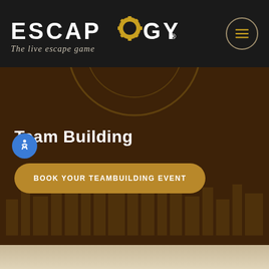ESCAPOLOGY. The live escape game
Team Building
BOOK YOUR TEAMBUILDING EVENT